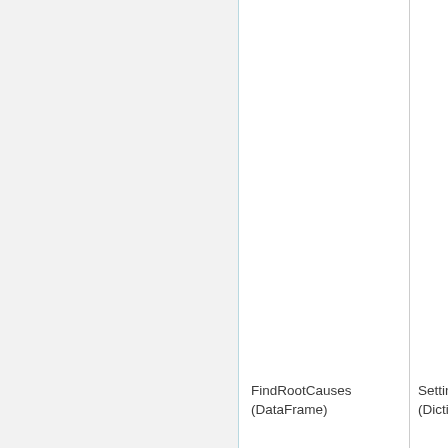FindRootCauses
(DataFrame)
Settings
(Dictionar